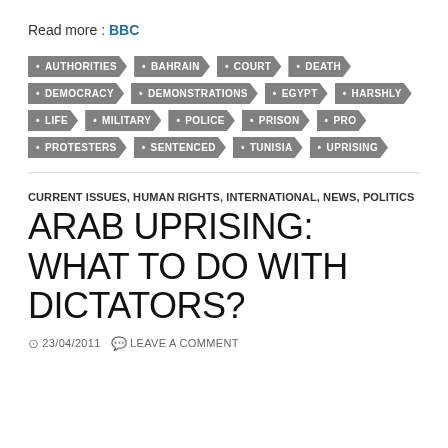Read more : BBC
AUTHORITIES, BAHRAIN, COURT, DEATH, DEMOCRACY, DEMONSTRATIONS, EGYPT, HARSHLY, LIFE, MILITARY, POLICE, PRISON, PRO, PROTESTERS, SENTENCED, TUNISIA, UPRISING
CURRENT ISSUES, HUMAN RIGHTS, INTERNATIONAL, NEWS, POLITICS
ARAB UPRISING: WHAT TO DO WITH DICTATORS?
23/04/2011  LEAVE A COMMENT